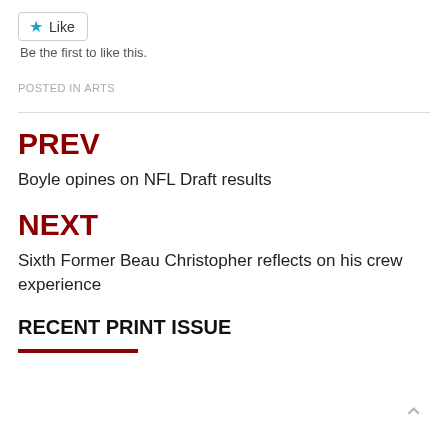[Figure (other): Like button widget with a blue star icon and 'Like' text inside a bordered button]
Be the first to like this.
POSTED IN ARTS
PREV
Boyle opines on NFL Draft results
NEXT
Sixth Former Beau Christopher reflects on his crew experience
RECENT PRINT ISSUE